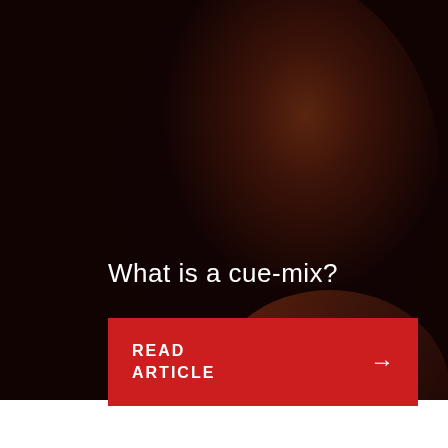[Figure (photo): Dark studio photo of a young man in profile view with a microphone in the foreground, dark red-tinted atmosphere]
What is a cue-mix?
READ ARTICLE →